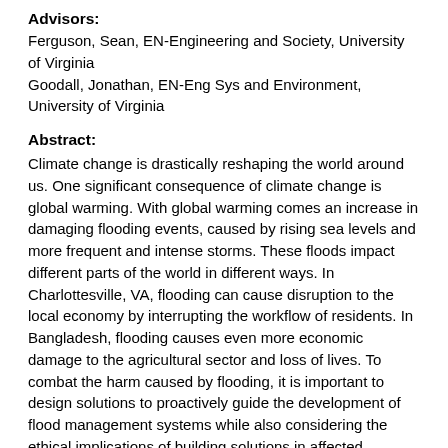Advisors:
Ferguson, Sean, EN-Engineering and Society, University of Virginia
Goodall, Jonathan, EN-Eng Sys and Environment, University of Virginia
Abstract:
Climate change is drastically reshaping the world around us. One significant consequence of climate change is global warming. With global warming comes an increase in damaging flooding events, caused by rising sea levels and more frequent and intense storms. These floods impact different parts of the world in different ways. In Charlottesville, VA, flooding can cause disruption to the local economy by interrupting the workflow of residents. In Bangladesh, flooding causes even more economic damage to the agricultural sector and loss of lives. To combat the harm caused by flooding, it is important to design solutions to proactively guide the development of flood management systems while also considering the ethical implications of building solutions in affected communities which may hesitate to adopt new strategies.
The technical project's goal was to start development of a